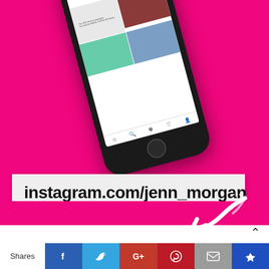[Figure (screenshot): Instagram mobile app screenshot on a smartphone displayed on a hot pink background. The phone is tilted at an angle showing an Instagram highlights/profile page with multiple story tabs (Highlight, My Life, For Laughs, Fitness) and a grid of photos.]
instagram.com/jenn_morgan
[Figure (illustration): White arrow pointing left toward the instagram.com/jenn_morgan URL bar, on a hot pink background.]
Shares